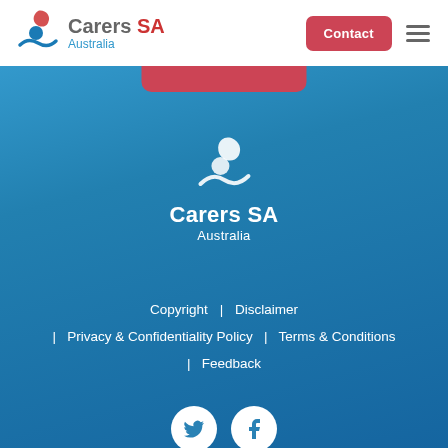Carers SA Australia — Contact navigation header
[Figure (logo): Carers SA Australia logo with swirl icon, red and blue text, plus Contact button and hamburger menu]
[Figure (logo): Carers SA Australia white logo in footer area with swirl icon on blue background]
Copyright | Disclaimer | Privacy & Confidentiality Policy | Terms & Conditions | Feedback
[Figure (infographic): Twitter and Facebook social media icons in white circles on blue background]